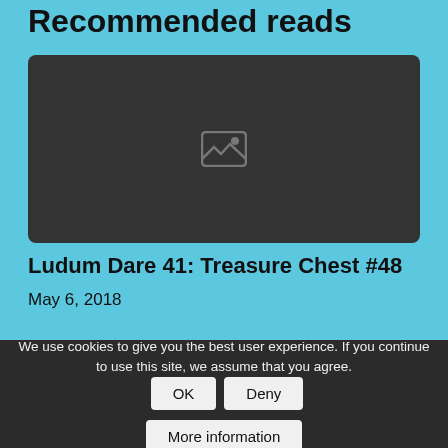Recommended reads
[Figure (photo): Dark placeholder image with broken image icon in center]
Ludum Dare 41: Treasure Chest #48
May 6, 2018
We use cookies to give you the best user experience. If you continue to use this site, we assume that you agree.
OK  Deny  More information